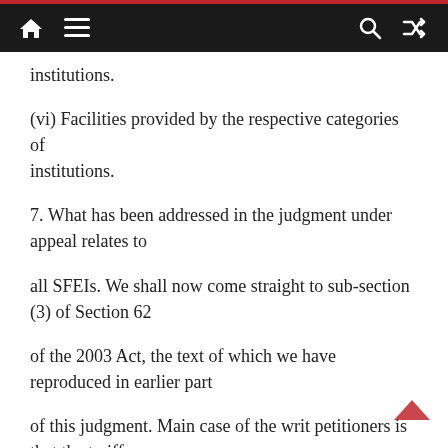Navigation bar with home, menu, search, and shuffle icons
institutions.
(vi) Facilities provided by the respective categories of institutions.
7. What has been addressed in the judgment under appeal relates to
all SFEIs. We shall now come straight to sub-section (3) of Section 62
of the 2003 Act, the text of which we have reproduced in earlier part
of this judgment. Main case of the writ petitioners is that the tariff
notification was issued ignoring the statutory